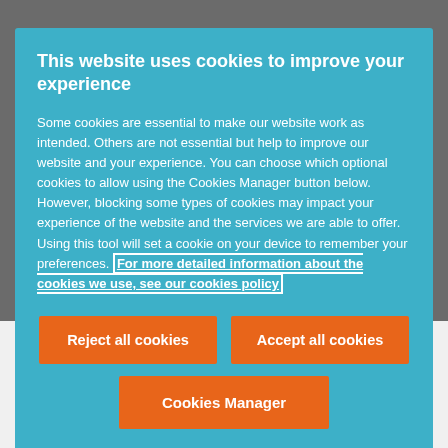This website uses cookies to improve your experience
Some cookies are essential to make our website work as intended. Others are not essential but help to improve our website and your experience. You can choose which optional cookies to allow using the Cookies Manager button below. However, blocking some types of cookies may impact your experience of the website and the services we are able to offer. Using this tool will set a cookie on your device to remember your preferences. For more detailed information about the cookies we use, see our cookies policy
Reject all cookies
Accept all cookies
Cookies Manager
Benjamin Docquir
Partner, Belgium
+32 2 515 93 36